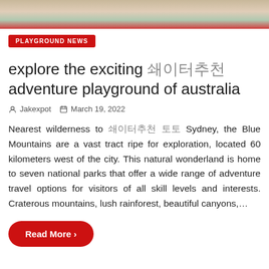[Figure (photo): Top portion of a colorful playground surface image, showing sandy/beige, green, and red sections]
PLAYGROUND NEWS
explore the exciting 놀이터추천 adventure playground of australia
Jakexpot   March 19, 2022
Nearest wilderness to 놀이터추천 토토 Sydney, the Blue Mountains are a vast tract ripe for exploration, located 60 kilometers west of the city. This natural wonderland is home to seven national parks that offer a wide range of adventure travel options for visitors of all skill levels and interests. Craterous mountains, lush rainforest, beautiful canyons,…
Read More ›